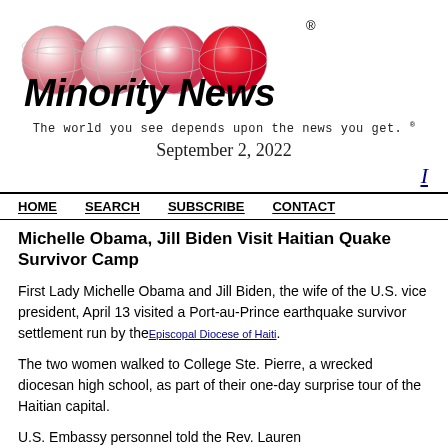[Figure (logo): Minority News logo with globe spheres in white to red gradient and bold italic text 'Minority News' with registered trademark symbol]
The world you see depends upon the news you get. ®
September 2, 2022
HOME   SEARCH   SUBSCRIBE   CONTACT
Michelle Obama, Jill Biden Visit Haitian Quake Survivor Camp
First Lady Michelle Obama and Jill Biden, the wife of the U.S. vice president, April 13 visited a Port-au-Prince earthquake survivor settlement run by the Episcopal Diocese of Haiti.
The two women walked to College Ste. Pierre, a wrecked diocesan high school, as part of their one-day surprise tour of the Haitian capital.
U.S. Embassy personnel told the Rev. Lauren